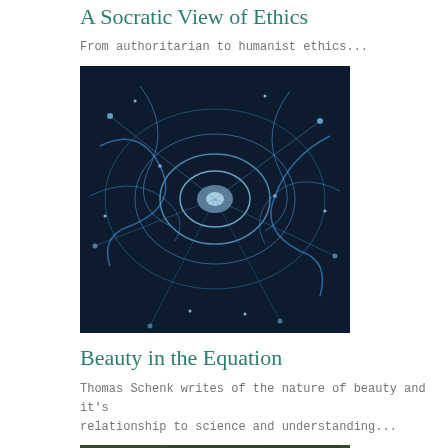A Socratic View of Ethics
From authoritarian to humanist ethics...
[Figure (photo): Abstract blue neural/magnetic field visualization on dark background]
Beauty in the Equation
Thomas Schenk writes of the nature of beauty and it's relationship to science and understanding...
[Figure (photo): Portrait photo of a blonde woman wearing a dark hat, with greenery in background]
How to Pray as a Naturalist
Guest author Rob Wheeler discusses Naturalistic prayer...